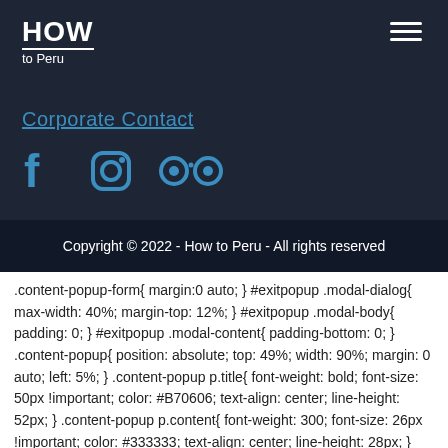HOW to Peru
Corporate Contact
[Figure (logo): Social media icons: Facebook, Instagram, TripAdvisor]
Copyright © 2022 - How to Peru - All rights reserved
.content-popup-form{ margin:0 auto; } #exitpopup .modal-dialog{ max-width: 40%; margin-top: 12%; } #exitpopup .modal-body{ padding: 0; } #exitpopup .modal-content{ padding-bottom: 0; } .content-popup{ position: absolute; top: 49%; width: 90%; margin: 0 auto; left: 5%; } .content-popup p.title{ font-weight: bold; font-size: 50px !important; color: #B70606; text-align: center; line-height: 52px; } .content-popup p.content{ font-weight: 300; font-size: 26px !important; color: #333333; text-align: center; line-height: 28px; } .modal-content{ background-color: transparent; } #free-things-input{ border: none; border-